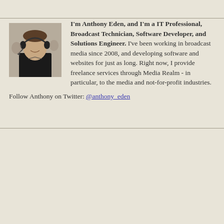[Figure (photo): Headshot photo of Anthony Eden, a young man wearing a headset, smiling, in a broadcast environment]
I'm Anthony Eden, and I'm a IT Professional, Broadcast Technician, Software Developer, and Solutions Engineer. I've been working in broadcast media since 2008, and developing software and websites for just as long. Right now, I provide freelance services through Media Realm - in particular, to the media and not-for-profit industries.
Follow Anthony on Twitter: @anthony_eden